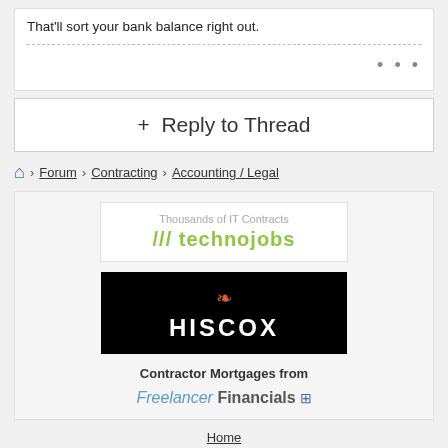That'll sort your bank balance right out.
...
+ Reply to Thread
Home > Forum > Contracting > Accounting / Legal
[Figure (logo): Technojobs - Thousands of IT Contracts logo]
[Figure (logo): Hiscox logo on black background]
Contractor Mortgages from
[Figure (logo): Freelancer Financials logo]
Home
News & Features